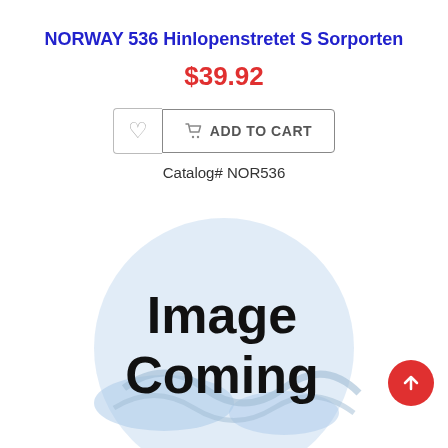NORWAY 536 Hinlopenstretet S Sorporten
$39.92
ADD TO CART
Catalog# NOR536
[Figure (illustration): Image Coming placeholder with light blue circle and wave logo background, text 'Image Coming' in large bold black letters]